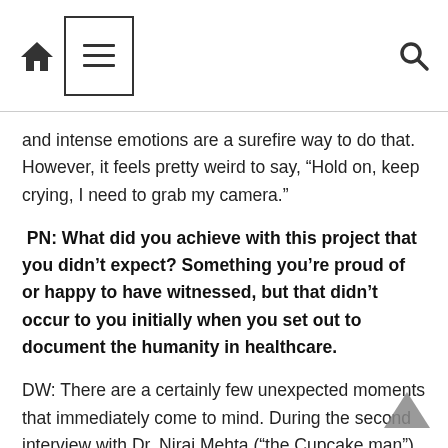Home | Menu | Search
and intense emotions are a surefire way to do that. However, it feels pretty weird to say, “Hold on, keep crying, I need to grab my camera.”
PN: What did you achieve with this project that you didn’t expect? Something you’re proud of or happy to have witnessed, but that didn’t occur to you initially when you set out to document the humanity in healthcare.
DW: There are a certainly few unexpected moments that immediately come to mind. During the second interview with Dr. Niraj Mehta (“the Cupcake man”), I actually got to follow him and his team around as they performed birthday ceremonies for patients. It’s hard to describe that